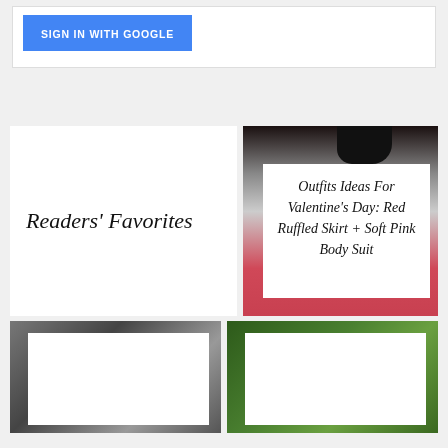[Figure (screenshot): Blue 'SIGN IN WITH GOOGLE' button on white card background]
Readers' Favorites
[Figure (photo): Photo of person in red outfit with overlaid text card]
Outfits Ideas For Valentine's Day: Red Ruffled Skirt + Soft Pink Body Suit
[Figure (photo): Street style photo with white overlay card]
[Figure (photo): Tropical palm leaves photo with white overlay card]